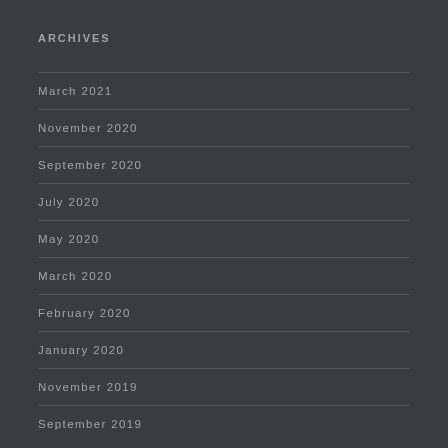ARCHIVES
March 2021
November 2020
September 2020
July 2020
May 2020
March 2020
February 2020
January 2020
November 2019
September 2019